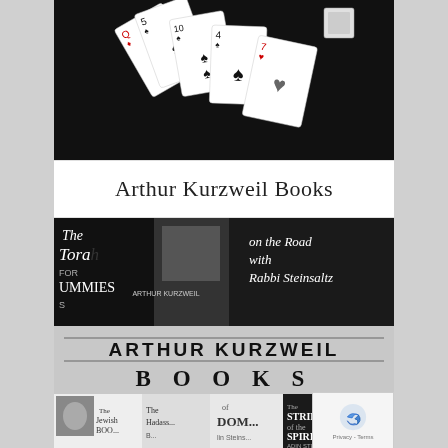[Figure (photo): Black and white photo of playing cards spread on a dark background, including Queen of Diamonds, 5 of Spades, 10 of Spades, 4 of Spades, 7 of Hearts, and other cards]
Arthur Kurzweil Books
[Figure (photo): Black and white collage photo showing Arthur Kurzweil Books banner/logo with various book covers including 'The Torah for Dummies', 'On the Road with Rabbi Steinsaltz', 'The Jewish Book', 'Hadass', 'The DOM', 'The Strips of the Spirit' by Adin Steinsaltz, and others. Large text reads 'ARTHUR KURZWEIL BOOKS'.]